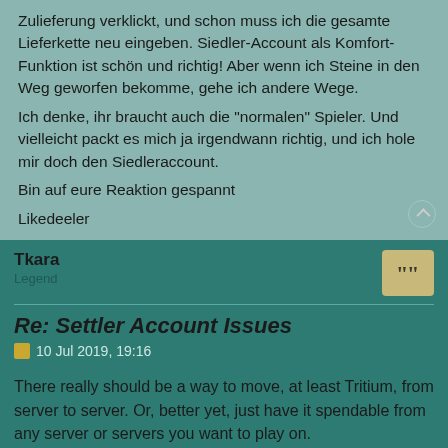Zulieferung verklickt, und schon muss ich die gesamte Lieferkette neu eingeben. Siedler-Account als Komfort-Funktion ist schön und richtig! Aber wenn ich Steine in den Weg geworfen bekomme, gehe ich andere Wege.
Ich denke, ihr braucht auch die "normalen" Spieler. Und vielleicht packt es mich ja irgendwann richtig, und ich hole mir doch den Siedleraccount.
Bin auf eure Reaktion gespannt
Likedeeler
Tkara
Re: Settler Account Issues
10 Jul 2019, 19:16
There really should be a way to move, at least Tritium, from server to server. Or, better yet, just have it spendable from any server or servers you want to play on.
When I found this game I started on Opportunity which was several days already in progress. Bought Tritium and then got a Settler Account thinking it would be for my "Account," not just that server.